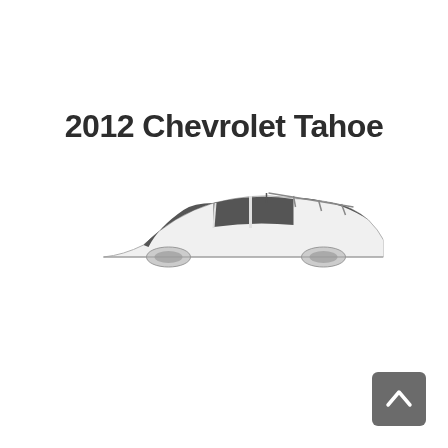2012 Chevrolet Tahoe
[Figure (illustration): Side profile view of a 2012 Chevrolet Tahoe SUV, showing the roofline, windows, and partial wheel arches. The vehicle is shown in white against a white background, with dark tinted windows and visible roof rack rails.]
[Figure (other): Small dark gray rounded-rectangle button with an upward-pointing chevron/caret arrow icon, positioned in the bottom right corner of the page.]